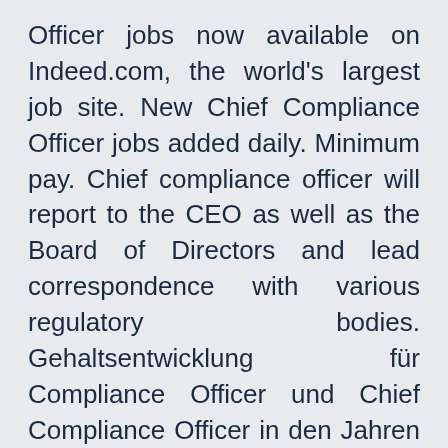Officer jobs now available on Indeed.com, the world's largest job site. New Chief Compliance Officer jobs added daily. Minimum pay. Chief compliance officer will report to the CEO as well as the Board of Directors and lead correspondence with various regulatory bodies. Gehaltsentwicklung für Compliance Officer und Chief Compliance Officer in den Jahren 2014 - 2017. Quickly find and apply for your next job opportunity on Workopolis. The average salary for a Compliance Officer is $68,329 in Toronto, ON. This survey, last conducted in 2017, contains the latest